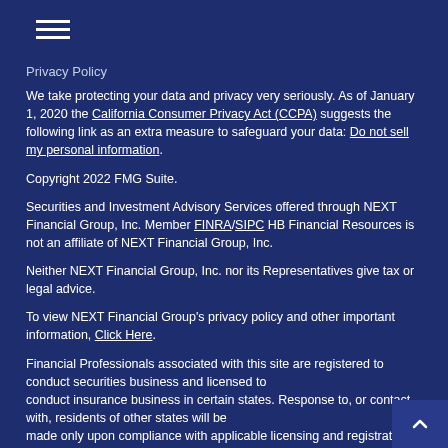Privacy Policy
We take protecting your data and privacy very seriously. As of January 1, 2020 the California Consumer Privacy Act (CCPA) suggests the following link as an extra measure to safeguard your data: Do not sell my personal information.
Copyright 2022 FMG Suite.
Securities and Investment Advisory Services offered through NEXT Financial Group, Inc. Member FINRA/SIPC HB Financial Resources is not an affiliate of NEXT Financial Group, Inc.
Neither NEXT Financial Group, Inc. nor its Representatives give tax or legal advice.
To view NEXT Financial Group's privacy policy and other important information, Click Here.
Financial Professionals associated with this site are registered to conduct securities business and licensed to conduct insurance business in certain states. Response to, or contact with, residents of other states will be made only upon compliance with applicable licensing and registration requirements. The information in this website is for U.S. residents only and does not constitute an offer to sell, or a solicitation of an offer to